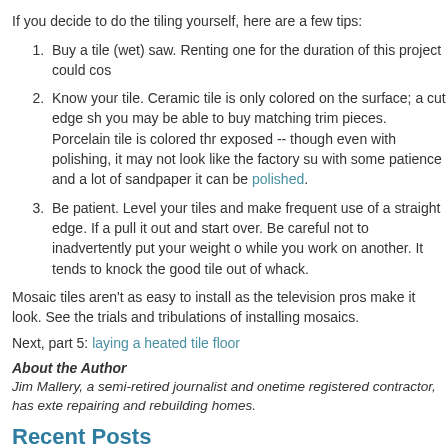If you decide to do the tiling yourself, here are a few tips:
Buy a tile (wet) saw. Renting one for the duration of this project could cos
Know your tile. Ceramic tile is only colored on the surface; a cut edge sh you may be able to buy matching trim pieces. Porcelain tile is colored thr exposed -- though even with polishing, it may not look like the factory su with some patience and a lot of sandpaper it can be polished.
Be patient. Level your tiles and make frequent use of a straight edge. If a pull it out and start over. Be careful not to inadvertently put your weight o while you work on another. It tends to knock the good tile out of whack.
Mosaic tiles aren't as easy to install as the television pros make it look. See the trials and tribulations of installing mosaics.
Next, part 5: laying a heated tile floor
About the Author
Jim Mallery, a semi-retired journalist and onetime registered contractor, has exte repairing and rebuilding homes.
Recent Posts
The Best Basement Renovations for Your Home Improvement Buck
12 months to an upgraded home
Green bathroom updates for under $500
12 DIY projects for every budget and skill level